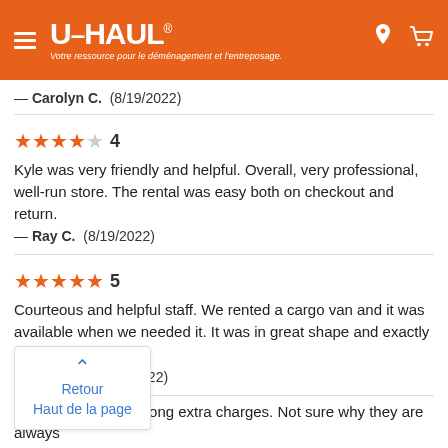[Figure (logo): U-Haul logo on orange header with hamburger menu, location and cart icons. Tagline: Votre ressource pour le déménagement et l'entreposage.]
— Carolyn C.  (8/19/2022)
★★★★☆ 4
Kyle was very friendly and helpful. Overall, very professional, well-run store. The rental was easy both on checkout and return.
— Ray C.  (8/19/2022)
★★★★★ 5
Courteous and helpful staff. We rented a cargo van and it was available when we needed it. It was in great shape and exactly what we needed.
— Bruce S.  (8/18/2022)
Retour
Haut de la page
There are always wrong extra charges. Not sure why they are always